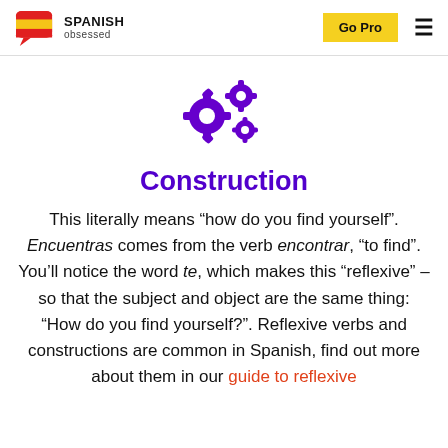SPANISH obsessed | Go Pro
[Figure (illustration): Three purple gear/cog icons arranged together, two smaller and one large]
Construction
This literally means “how do you find yourself”. Encuentras comes from the verb encontrar, “to find”. You’ll notice the word te, which makes this “reflexive” – so that the subject and object are the same thing: “How do you find yourself?”. Reflexive verbs and constructions are common in Spanish, find out more about them in our guide to reflexive